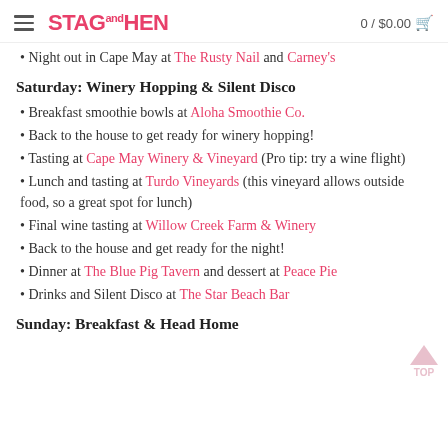STAG and HEN  0 / $0.00
Night out in Cape May at The Rusty Nail and Carney's
Saturday: Winery Hopping & Silent Disco
Breakfast smoothie bowls at Aloha Smoothie Co.
Back to the house to get ready for winery hopping!
Tasting at Cape May Winery & Vineyard (Pro tip: try a wine flight)
Lunch and tasting at Turdo Vineyards (this vineyard allows outside food, so a great spot for lunch)
Final wine tasting at Willow Creek Farm & Winery
Back to the house and get ready for the night!
Dinner at The Blue Pig Tavern and dessert at Peace Pie
Drinks and Silent Disco at The Star Beach Bar
Sunday: Breakfast & Head Home